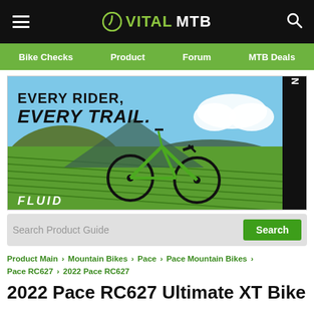VITALMTB
Bike Checks | Product | Forum | MTB Deals
[Figure (photo): Norco Fluid mountain bike advertisement showing a green mountain bike on a hillside trail with text 'EVERY RIDER, EVERY TRAIL.' and NORCO branding on the side]
Search Product Guide
Product Main > Mountain Bikes > Pace > Pace Mountain Bikes > Pace RC627 > 2022 Pace RC627
2022 Pace RC627 Ultimate XT Bike